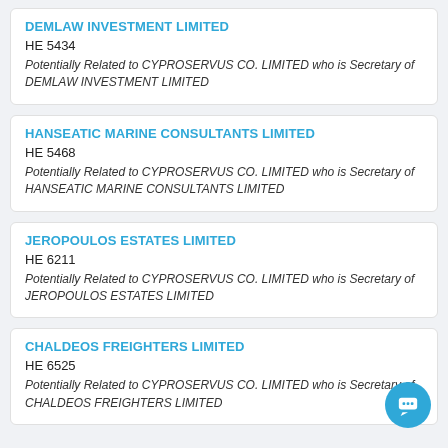DEMLAW INVESTMENT LIMITED
HE 5434
Potentially Related to CYPROSERVUS CO. LIMITED who is Secretary of DEMLAW INVESTMENT LIMITED
HANSEATIC MARINE CONSULTANTS LIMITED
HE 5468
Potentially Related to CYPROSERVUS CO. LIMITED who is Secretary of HANSEATIC MARINE CONSULTANTS LIMITED
JEROPOULOS ESTATES LIMITED
HE 6211
Potentially Related to CYPROSERVUS CO. LIMITED who is Secretary of JEROPOULOS ESTATES LIMITED
CHALDEOS FREIGHTERS LIMITED
HE 6525
Potentially Related to CYPROSERVUS CO. LIMITED who is Secretary of CHALDEOS FREIGHTERS LIMITED